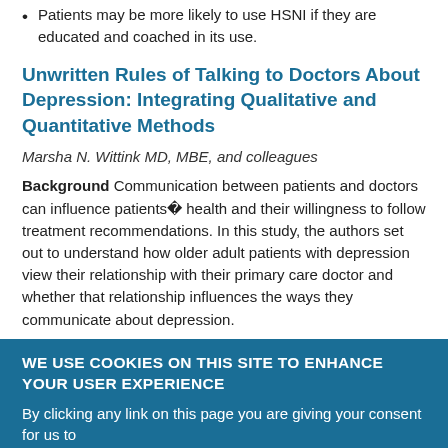Patients may be more likely to use HSNI if they are educated and coached in its use.
Unwritten Rules of Talking to Doctors About Depression: Integrating Qualitative and Quantitative Methods
Marsha N. Wittink MD, MBE, and colleagues
Background Communication between patients and doctors can influence patients' health and their willingness to follow treatment recommendations. In this study, the authors set out to understand how older adult patients with depression view their relationship with their primary care doctor and whether that relationship influences the ways they communicate about depression.
WE USE COOKIES ON THIS SITE TO ENHANCE YOUR USER EXPERIENCE
By clicking any link on this page you are giving your consent for us to